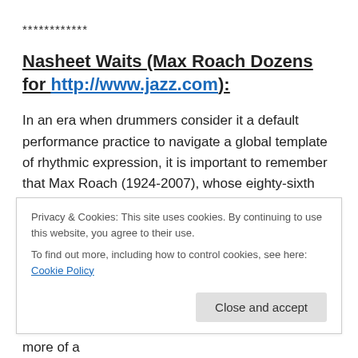************
Nasheet Waits (Max Roach Dozens for http://www.jazz.com):
In an era when drummers consider it a default performance practice to navigate a global template of rhythmic expression, it is important to remember that Max Roach (1924-2007), whose eighty-sixth birthday anniversary came along last week, is the single most important figure in this development.
Privacy & Cookies: This site uses cookies. By continuing to use this website, you agree to their use.
To find out more, including how to control cookies, see here: Cookie Policy
Webb, approached soloing on the drumset from more of a